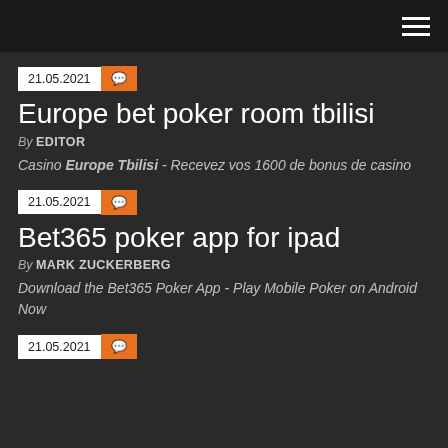21.05.2021
Europe bet poker room tbilisi
By EDITOR
Casino Europe Tbilisi - Recevez vos 1600 de bonus de casino
21.05.2021
Bet365 poker app for ipad
By MARK ZUCKERBERG
Download the Bet365 Poker App - Play Mobile Poker on Android Now
21.05.2021